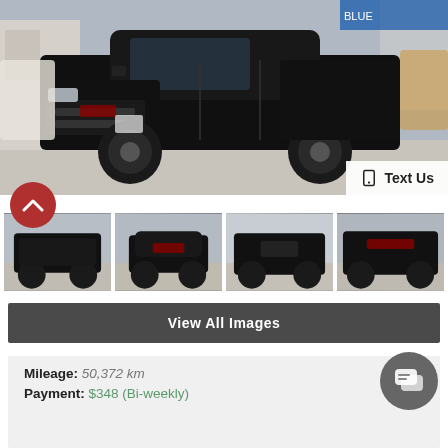[Figure (photo): Black GMC Sierra pickup truck parked at a dealership lot, front 3/4 view, all-black exterior with black wheels]
Text Us
[Figure (photo): Four thumbnail images of the black GMC Sierra: side view, front view, rear view, rear 3/4 view]
View All Images
Mileage:  50,372 km
Payment:  $348 (Bi-weekly)